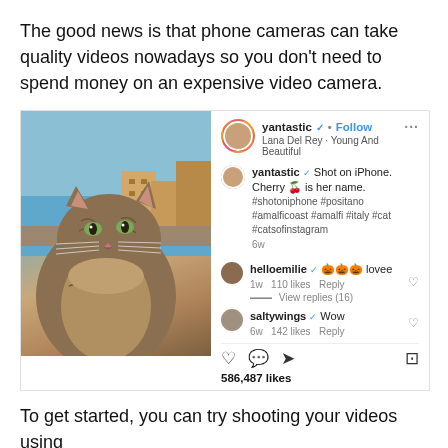The good news is that phone cameras can take quality videos nowadays so you don't need to spend money on an expensive video camera.
[Figure (screenshot): Instagram post screenshot showing a cat photo from Positano/Amalfi coast by user yantastic, with comments from helloemilie and saltywings, 586,487 likes, shot on iPhone]
To get started, you can try shooting your videos using